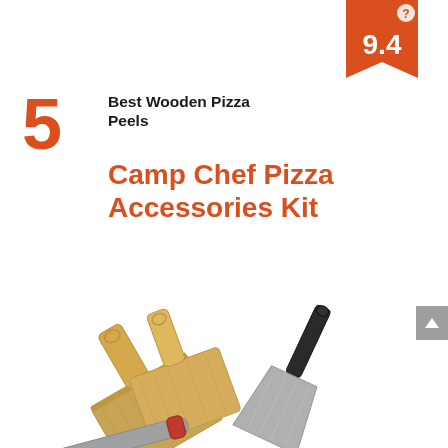[Figure (infographic): Orange bookmark-shaped badge with score 9.4 and a small question mark circle at top-right corner]
5
Best Wooden Pizza Peels
Camp Chef Pizza Accessories Kit
[Figure (photo): Product photo showing wooden pizza peels/paddles (two lighter and one larger), a metal pizza peel/spatula, and a rolling pin with red handles arranged together]
[Figure (other): Gray scroll-to-top arrow button on the right side]